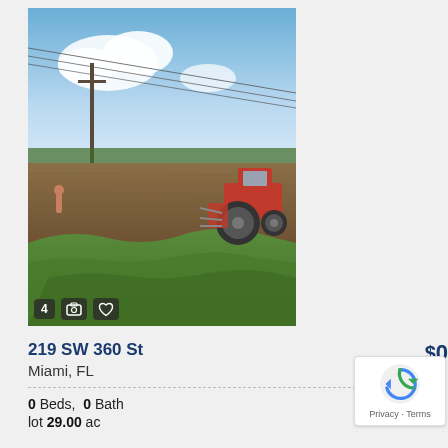[Figure (photo): Aerial/ground-level photo of a flat agricultural field with green grass patches and tilled brown soil. A red tractor is visible on the right side. Power lines cross diagonally above. Blue sky with clouds. A person stands at left edge.]
219 SW 360 St
Miami, FL
0 Beds,  0 Bath
lot 29.00 ac
$0